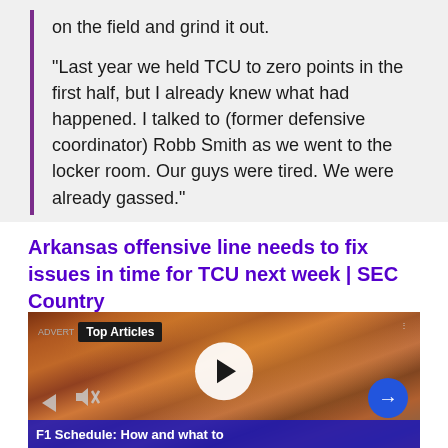on the field and grind it out.

“Last year we held TCU to zero points in the first half, but I already knew what had happened. I talked to (former defensive coordinator) Robb Smith as we went to the locker room. Our guys were tired. We were already gassed.”
Arkansas offensive line needs to fix issues in time for TCU next week | SEC Country
[Figure (screenshot): Video player thumbnail showing a crowd of sports fans with orange smoke, overlay showing Top Articles badge, a play button in the center, navigation arrows and mute icon at bottom, next arrow button at bottom right, and a caption bar reading 'F1 Schedule: How and what to']